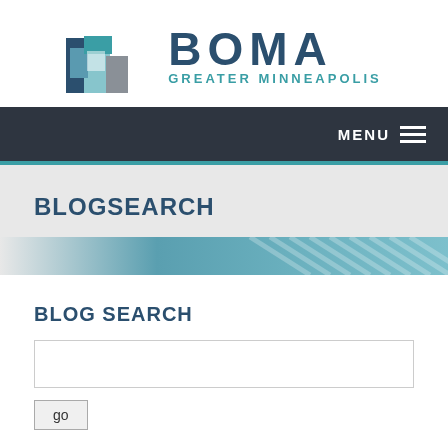[Figure (logo): BOMA Greater Minneapolis logo with building icon on left and 'BOMA / GREATER MINNEAPOLIS' text on right]
MENU ≡
BLOGSEARCH
BLOG SEARCH